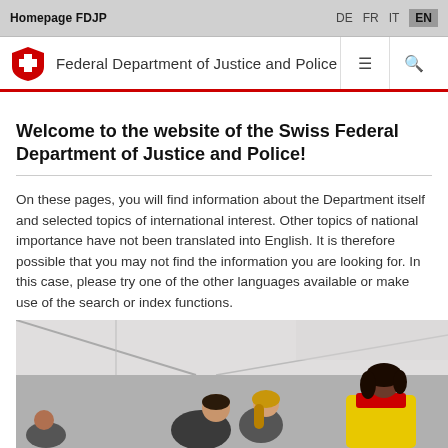Homepage FDJP   DE  FR  IT  EN
Federal Department of Justice and Police
Welcome to the website of the Swiss Federal Department of Justice and Police!
On these pages, you will find information about the Department itself and selected topics of international interest. Other topics of national importance have not been translated into English. It is therefore possible that you may not find the information you are looking for. In this case, please try one of the other languages available or make use of the search or index functions.
[Figure (photo): Photo of people in a tent setting, including a person in a yellow safety vest on the right, and two others (man and woman) looking down at something on the left.]